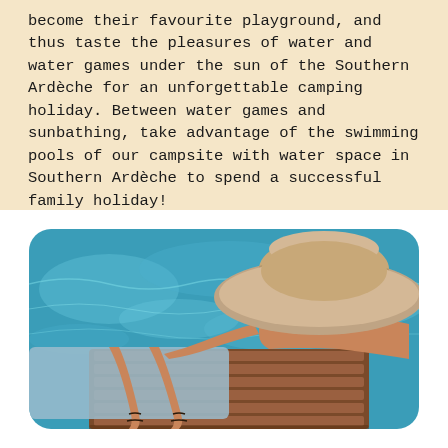become their favourite playground, and thus taste the pleasures of water and water games under the sun of the Southern Ardèche for an unforgettable camping holiday. Between water games and sunbathing, take advantage of the swimming pools of our campsite with water space in Southern Ardèche to spend a successful family holiday!
[Figure (photo): A person relaxing on a wooden sun lounger by a swimming pool, wearing a large brimmed sun hat, viewed from a low angle. The pool water is visible in the background with a blue-green color.]